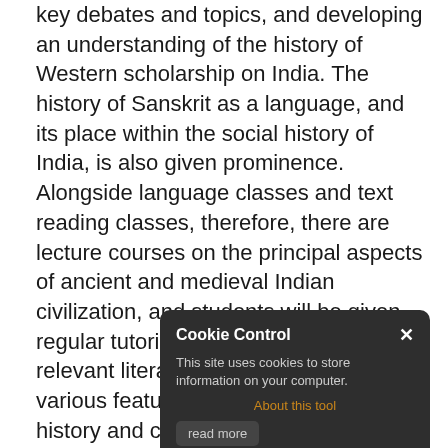key debates and topics, and developing an understanding of the history of Western scholarship on India. The history of Sanskrit as a language, and its place within the social history of India, is also given prominence. Alongside language classes and text reading classes, therefore, there are lecture courses on the principal aspects of ancient and medieval Indian civilization, and students will be given regular tutorials, for which they will read relevant literature and write essays on various features of Sanskrit literature, history and culture.
No prior knowledge of any ancient language is expected for students entering the degree.
Alongside the study of Sanskrit, students choose one subsidiary language option, which is studied in the second and third year language course. Student may choose from among Hindi, Early Iranian (Including Avestan, Old Persian, and/or Middle Persian), Pali, Prakrit, and Tibetan. Exceptionally, permission may be